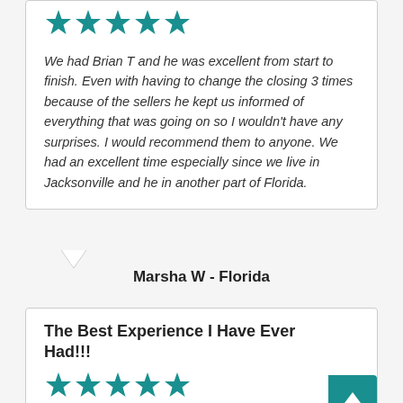[Figure (other): Five teal star rating icons]
We had Brian T and he was excellent from start to finish. Even with having to change the closing 3 times because of the sellers he kept us informed of everything that was going on so I wouldn't have any surprises. I would recommend them to anyone. We had an excellent time especially since we live in Jacksonville and he in another part of Florida.
Marsha W - Florida
The Best Experience I Have Ever Had!!!
[Figure (other): Five teal star rating icons]